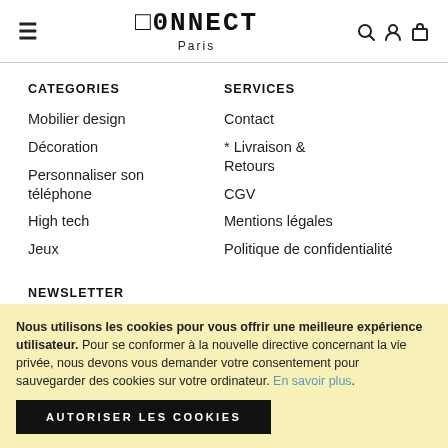CONNECT Paris
CATEGORIES
Mobilier design
Décoration
Personnaliser son téléphone
High tech
Jeux
SERVICES
Contact
* Livraison & Retours
CGV
Mentions légales
Politique de confidentialité
NEWSLETTER
Nous utilisons les cookies pour vous offrir une meilleure expérience utilisateur. Pour se conformer à la nouvelle directive concernant la vie privée, nous devons vous demander votre consentement pour sauvegarder des cookies sur votre ordinateur. En savoir plus.
AUTORISER LES COOKIES